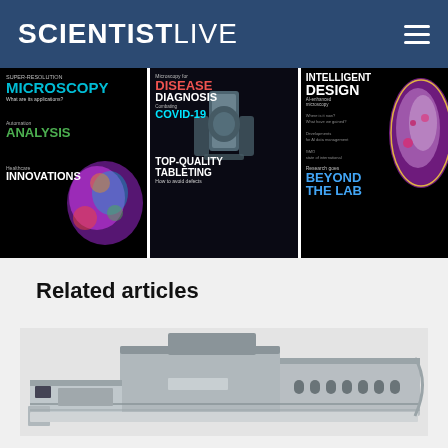SCIENTISTLIVE
[Figure (illustration): Three scientific magazine covers side by side: 1) Super-Resolution Microscopy with Analysis and Innovations; 2) Disease Diagnosis Combating COVID-19 Top-Quality Tableting; 3) Intelligent Design AI-enhanced microscopy Beyond The Lab]
Related articles
[Figure (photo): Industrial pharmaceutical or laboratory conveyor/processing machine in stainless steel, shown in side profile on white background]